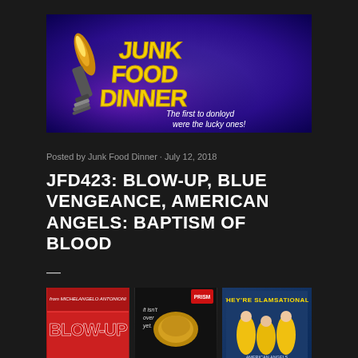[Figure (logo): Junk Food Dinner banner logo with yellow stylized text on purple/blue background. Tagline: 'The first to donloyd were the lucky ones!']
Posted by Junk Food Dinner · July 12, 2018
JFD423: BLOW-UP, BLUE VENGEANCE, AMERICAN ANGELS: BAPTISM OF BLOOD
—
[Figure (illustration): Three movie cover thumbnails side by side: Blow-Up (red background with text MICHELANGELO ANTONIONI / BLOW-UP), Blue Vengeance (dark background with text 'it isn't over yet.'), American Angels: Baptism of Blood (blue background with text THEY'RE SLAMSATIONAL!)]